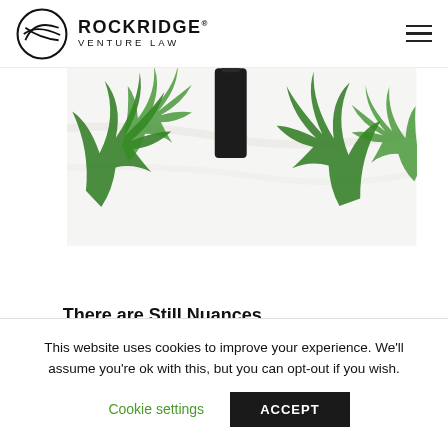ROCKRIDGE® VENTURE LAW
[Figure (photo): Cannabis leaves and a dark dropper bottle on a white marble surface]
There are Still Nuances
This area of law is changing and progressing, and this is where we come in.
This website uses cookies to improve your experience. We'll assume you're ok with this, but you can opt-out if you wish.
Cookie settings  ACCEPT